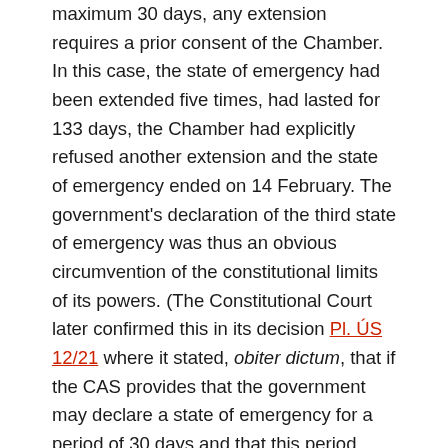maximum 30 days, any extension requires a prior consent of the Chamber. In this case, the state of emergency had been extended five times, had lasted for 133 days, the Chamber had explicitly refused another extension and the state of emergency ended on 14 February. The government's declaration of the third state of emergency was thus an obvious circumvention of the constitutional limits of its powers. (The Constitutional Court later confirmed this in its decision Pl. ÚS 12/21 where it stated, obiter dictum, that if the CAS provides that the government may declare a state of emergency for a period of 30 days and that this period may be extended only after the Chamber consents to it, it is not possible to extend the state of emergency in another way. Unless there is a change in relevant circumstances, it is not possible to declare a “new” state of emergency if the “original” state of emergency has come to an end and the Chamber has not consented to its extension.)